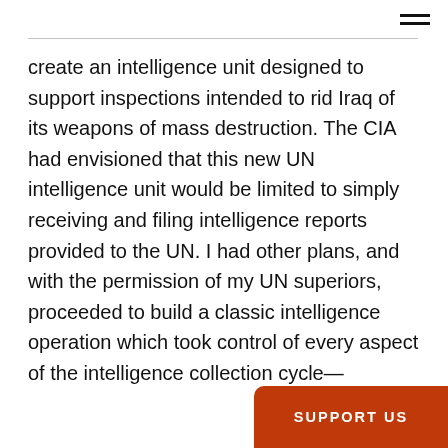create an intelligence unit designed to support inspections intended to rid Iraq of its weapons of mass destruction. The CIA had envisioned that this new UN intelligence unit would be limited to simply receiving and filing intelligence reports provided to the UN. I had other plans, and with the permission of my UN superiors, proceeded to build a classic intelligence operation which took control of every aspect of the intelligence collection cycle—direction, collection, assessment, and dissemination. Building on my Marine Corps, INF weapons inspector and SCUD hunting experiences, I helped build a unique capability which put UNSCOM in c